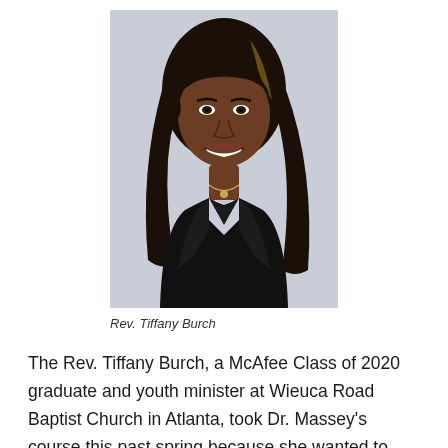[Figure (photo): Professional headshot of Rev. Tiffany Burch, a woman with long dark hair wearing a black blazer and necklace, smiling, against a light gray background.]
Rev. Tiffany Burch
The Rev. Tiffany Burch, a McAfee Class of 2020 graduate and youth minister at Wieuca Road Baptist Church in Atlanta, took Dr. Massey’s course this past spring because she wanted to understand the purpose of dreams and the